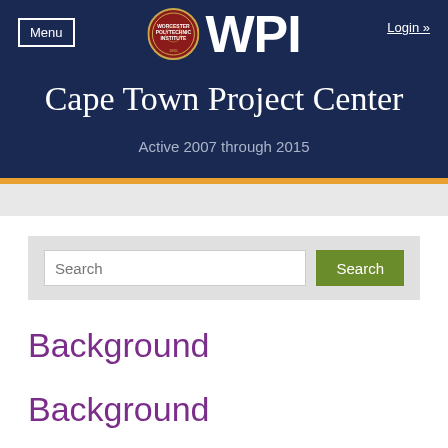Menu | WPI | Login »
Cape Town Project Center
Active 2007 through 2015
Search [input] Search [button]
Background
Background